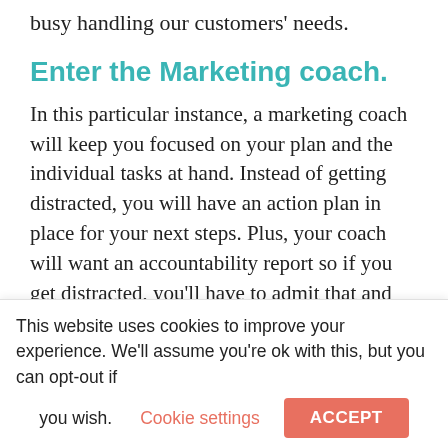busy handling our customers' needs.
Enter the Marketing coach.
In this particular instance, a marketing coach will keep you focused on your plan and the individual tasks at hand. Instead of getting distracted, you will have an action plan in place for your next steps. Plus, your coach will want an accountability report so if you get distracted, you'll have to admit that and own up to wasting
This website uses cookies to improve your experience. We'll assume you're ok with this, but you can opt-out if you wish.
Cookie settings
ACCEPT